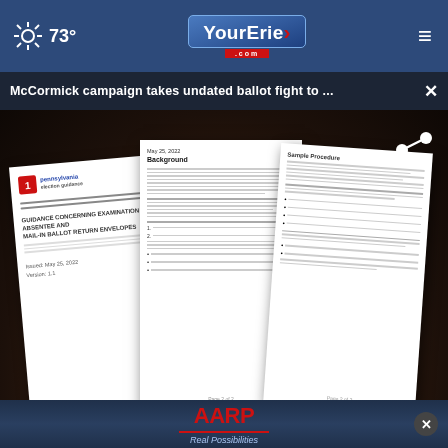73° YourErie.com
McCormick campaign takes undated ballot fight to ...
[Figure (screenshot): Screenshot of YourErie.com news website showing three document pages fanned out on a dark background, with a play button overlay. Documents appear to be Pennsylvania election guidance on absentee and mail-in ballot return envelopes. Channel 27 bug visible bottom right.]
TERNATIONAL INVESTORS THROUGH AMERICAN BANKS
HOUSE ETHICS SUB
[Figure (logo): AARP Real Possibilities advertisement banner]
[Figure (illustration): DISCOVERtheFOREST.org advertisement with ad council and US Forest Service badges]